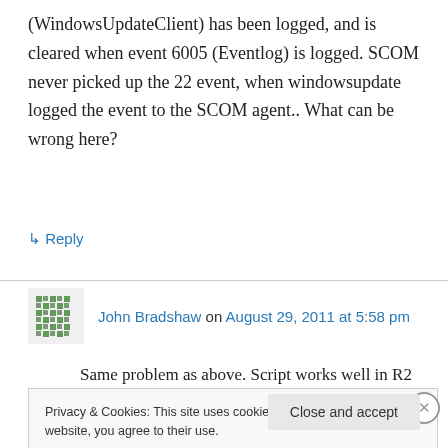(WindowsUpdateClient) has been logged, and is cleared when event 6005 (Eventlog) is logged. SCOM never picked up the 22 event, when windowsupdate logged the event to the SCOM agent.. What can be wrong here?
↳ Reply
John Bradshaw on August 29, 2011 at 5:58 pm
Same problem as above. Script works well in R2
Privacy & Cookies: This site uses cookies. By continuing to use this website, you agree to their use.
To find out more, including how to control cookies, see here: Cookie Policy
Close and accept